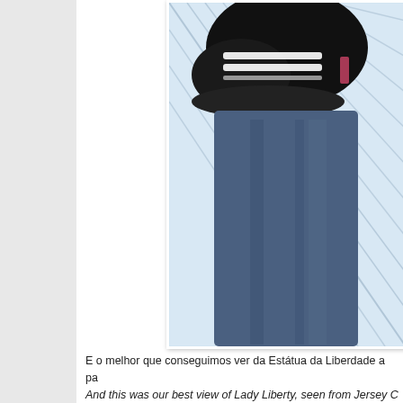[Figure (photo): Close-up photo of a black sneaker with white stripes over blue jeans, with a glass building structure in the background showing diagonal lines/scaffolding]
E o melhor que conseguimos ver da Estátua da Liberdade a pa
And this was our best view of Lady Liberty, seen from Jersey C
[Figure (photo): Photo of the Statue of Liberty seen from Jersey City, with a historic brick building in the foreground and Liberty Island visible in the background]